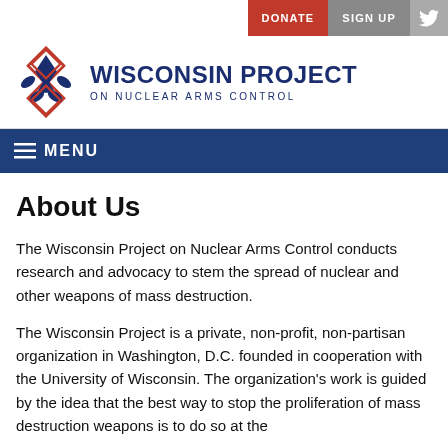DONATE  SIGN UP  [Twitter]
[Figure (logo): Wisconsin Project on Nuclear Arms Control logo — red and blue geometric diamond/cross icon with text 'WISCONSIN PROJECT ON NUCLEAR ARMS CONTROL']
≡ MENU
About Us
The Wisconsin Project on Nuclear Arms Control conducts research and advocacy to stem the spread of nuclear and other weapons of mass destruction.
The Wisconsin Project is a private, non-profit, non-partisan organization in Washington, D.C. founded in cooperation with the University of Wisconsin. The organization's work is guided by the idea that the best way to stop the proliferation of mass destruction weapons is to do so at the